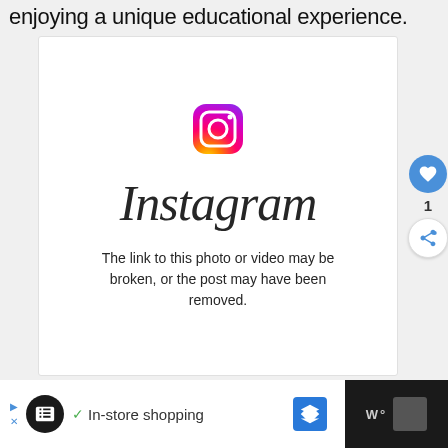enjoying a unique educational experience.
[Figure (screenshot): Instagram embedded post placeholder showing the Instagram logo and wordmark with the message: 'The link to this photo or video may be broken, or the post may have been removed.']
[Figure (screenshot): Advertisement bar at the bottom with dark background, showing a circular logo, a checkmark and 'In-store shopping' text, a blue navigation diamond icon, and dark right panel with white text.]